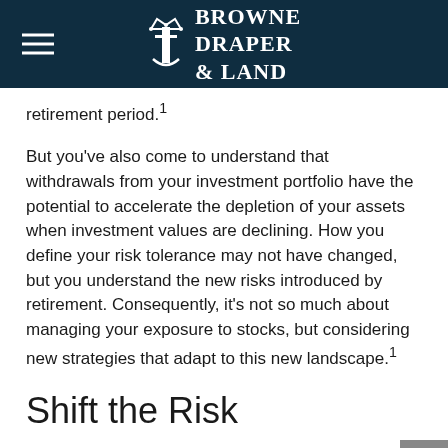Browne Draper & Land
retirement period.¹
But you’ve also come to understand that withdrawals from your investment portfolio have the potential to accelerate the depletion of your assets when investment values are declining. How you define your risk tolerance may not have changed, but you understand the new risks introduced by retirement. Consequently, it’s not so much about managing your exposure to stocks, but considering new strategies that adapt to this new landscape.¹
Shift the Risk